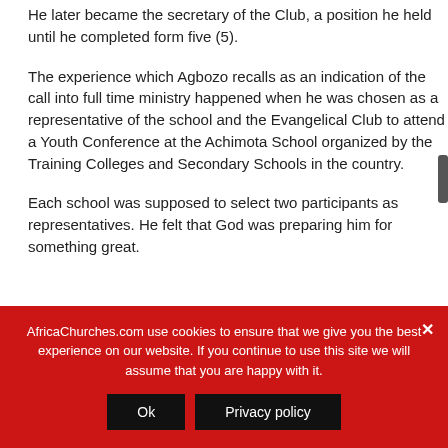He later became the secretary of the Club, a position he held until he completed form five (5).
The experience which Agbozo recalls as an indication of the call into full time ministry happened when he was chosen as a representative of the school and the Evangelical Club to attend a Youth Conference at the Achimota School organized by the Training Colleges and Secondary Schools in the country.
Each school was supposed to select two participants as representatives. He felt that God was preparing him for something great.
AfricaChurches.com use cookies to ensure that we give you the best experience on our website. If you continue to use this site we will assume that you are happy with it.
Ok
Privacy policy